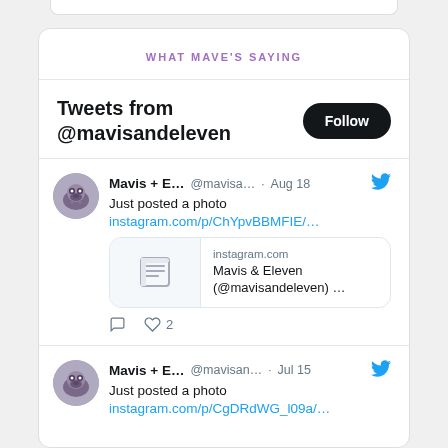WHAT MAVE'S SAYING
Tweets from @mavisandeleven
Mavis + E… @mavisa… · Aug 18
Just posted a photo
instagram.com/p/ChYpvBBMFIE/…
[Link preview: instagram.com | Mavis & Eleven (@mavisandeleven) …]
♡ 2
Mavis + E… @mavisan… · Jul 15
Just posted a photo
instagram.com/p/CgDRdWG_l09a/…